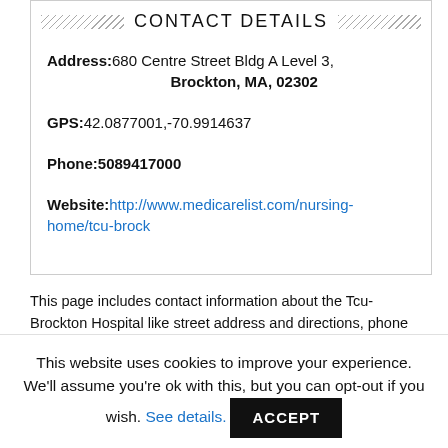CONTACT DETAILS
Address: 680 Centre Street Bldg A Level 3, Brockton, MA, 02302
GPS:42.0877001,-70.9914637
Phone:5089417000
Website:http://www.medicarelist.com/nursing-home/tcu-brock
This page includes contact information about the Tcu-Brockton Hospital like street address and directions, phone number, inspections, penalties and other useful information.
This facility address is: 680 Centre Street Bldg A Level 3, Brockton,
This website uses cookies to improve your experience. We'll assume you're ok with this, but you can opt-out if you wish. See details. ACCEPT